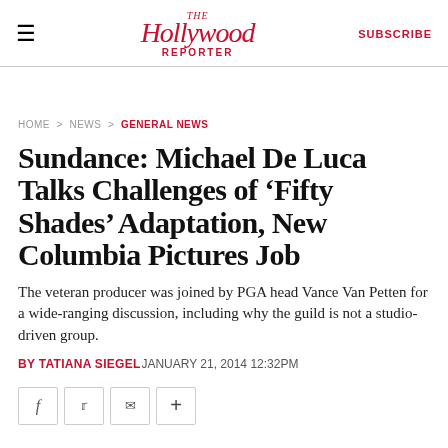The Hollywood Reporter | SUBSCRIBE
HOME > NEWS > GENERAL NEWS
Sundance: Michael De Luca Talks Challenges of ‘Fifty Shades’ Adaptation, New Columbia Pictures Job
The veteran producer was joined by PGA head Vance Van Petten for a wide-ranging discussion, including why the guild is not a studio-driven group.
BY TATIANA SIEGEL JANUARY 21, 2014 12:32PM